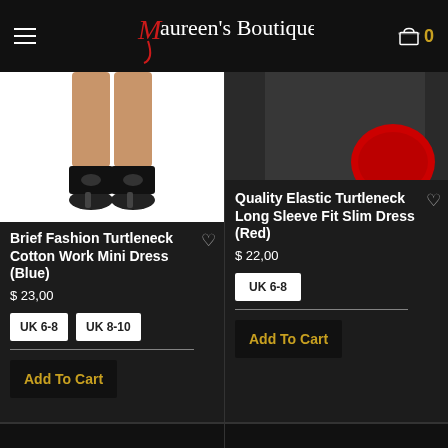Maureen's Boutique — Navigation header with hamburger menu and cart (0 items)
[Figure (photo): Product photo showing lower body/legs of model wearing a blue turtleneck cotton work mini dress with open-toe wedge shoes, white background]
Brief Fashion Turtleneck Cotton Work Mini Dress (Blue)
$ 23,00
UK 6-8
UK 8-10
Add To Cart
[Figure (photo): Partial product photo showing upper portion of red turtleneck long sleeve fit slim dress on model, dark background]
Quality Elastic Turtleneck Long Sleeve Fit Slim Dress (Red)
$ 22,00
UK 6-8
Add To Cart